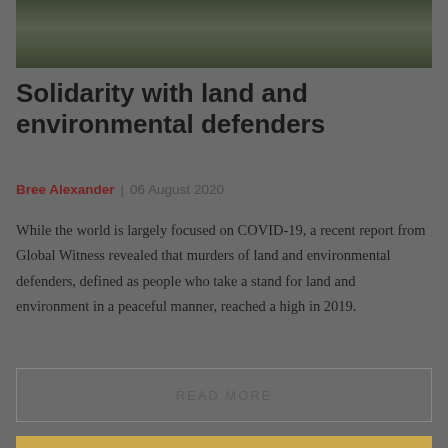[Figure (photo): Aerial or overhead photograph of land/forest area with dark green and brown tones, partially cropped at top]
Solidarity with land and environmental defenders
Bree Alexander | 06 August 2020
While the world is largely focused on COVID-19, a recent report from Global Witness revealed that murders of land and environmental defenders, defined as people who take a stand for land and environment in a peaceful manner, reached a high in 2019.
READ MORE
[Figure (photo): Bottom edge of a golden/yellow colored image strip, partially visible]